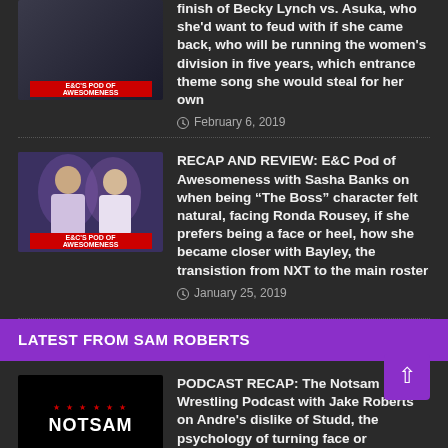[Figure (photo): E&C Pod of Awesomeness podcast cover image showing two men]
finish of Becky Lynch vs. Asuka, who she'd want to feud with if she came back, who will be running the women's division in five years, which entrance theme song she would steal for her own
February 6, 2019
[Figure (photo): E&C Pod of Awesomeness podcast cover image showing two men]
RECAP AND REVIEW: E&C Pod of Awesomeness with Sasha Banks on when being “The Boss” character felt natural, facing Ronda Rousey, if she prefers being a face or heel, how she became closer with Bayley, the transistion from NXT to the main roster
January 25, 2019
LATEST FROM SAM ROBERTS
[Figure (photo): Notsam Wrestling podcast logo on black background with red stars]
PODCAST RECAP: The Notsam Wrestling Podcast with Jake Roberts on Andre's dislike of Studd, the psychology of turning face or